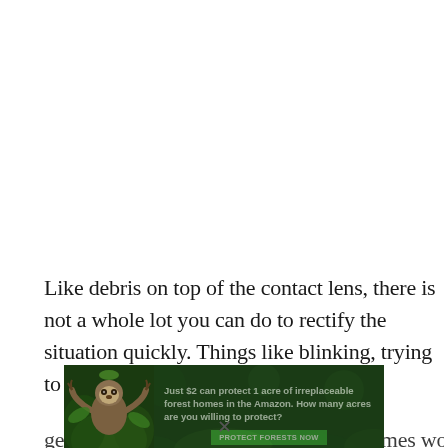Like debris on top of the contact lens, there is not a whole lot you can do to rectify the situation quickly. Things like blinking, trying to move the lens, and gently rubbing are all tricks that sometimes work.
[Figure (infographic): Advertisement banner: dark forest background with a sloth image on the left. Text reads 'Just $2 can protect 1 acre of irreplaceable forest homes in the Amazon. How many acres are you willing to protect?' with a green 'PROTECT FORESTS NOW' button.]